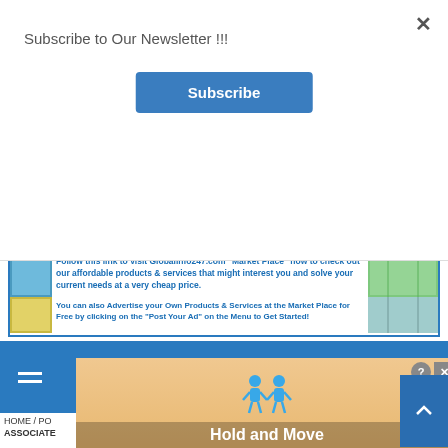×
Subscribe to Our Newsletter !!!
Subscribe
[Figure (illustration): Partial globe/earth graphic in a light blue strip]
Your Global Information HeadQuarters!
[Figure (infographic): Banner advertisement for Globalinfo247.com Market Place. Contains globe icons, food/store images, and text: 'Have you visited our "Market Place" Today?', 'Follow this link to visit Globalinfo247.com "Market Place" now to check out our affordable products & services that might interest you and solve your current needs at a very cheap price.', 'You can also Advertise your Own Products & Services at the Market Place for Free by clicking on the "Post Your Ad" on the Menu to Get Started!']
[Figure (screenshot): Blue navigation bar with hamburger menu icon on the left and search icon on the right]
HOME / PO
ASSOCIATE
[Figure (infographic): Floating popup overlay showing animated figures with text 'Hold and Move' on a sandy/beach background, with a close (X) and help (?) button]